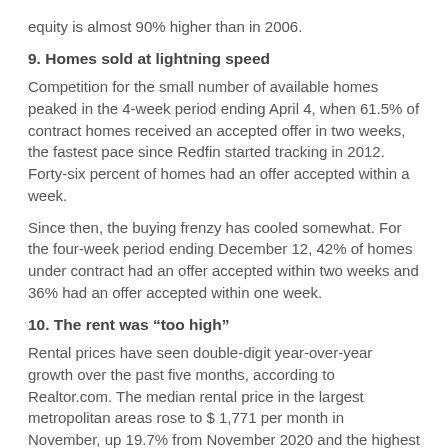equity is almost 90% higher than in 2006.
9. Homes sold at lightning speed
Competition for the small number of available homes peaked in the 4-week period ending April 4, when 61.5% of contract homes received an accepted offer in two weeks, the fastest pace since Redfin started tracking in 2012. Forty-six percent of homes had an offer accepted within a week.
Since then, the buying frenzy has cooled somewhat. For the four-week period ending December 12, 42% of homes under contract had an offer accepted within two weeks and 36% had an offer accepted within one week.
10. The rent was “too high”
Rental prices have seen double-digit year-over-year growth over the past five months, according to Realtor.com. The median rental price in the largest metropolitan areas rose to $ 1,771 per month in November, up 19.7% from November 2020 and the highest price recorded since Realtor.com started tracking rents in 2019.